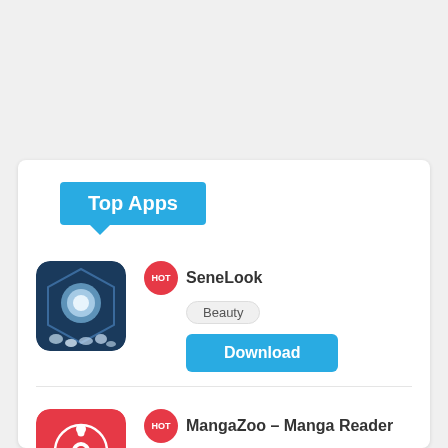Top Apps
[Figure (illustration): SeneLook app icon - dark blue background with circular white/blue lens graphic and snow/crystals at bottom]
HOT
SeneLook
Beauty
Download
[Figure (logo): MangaZoo app icon - red background with white Sharingan-like symbol, MANGAZOO text at bottom]
HOT
MangaZoo – Manga Reader
Comics
Download